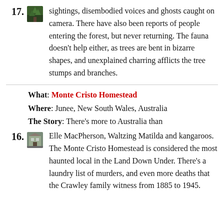17. sightings, disembodied voices and ghosts caught on camera. There have also been reports of people entering the forest, but never returning. The fauna doesn't help either, as trees are bent in bizarre shapes, and unexplained charring afflicts the tree stumps and branches.
16. What: Monte Cristo Homestead. Where: Junee, New South Wales, Australia. The Story: There's more to Australia than Elle MacPherson, Waltzing Matilda and kangaroos. The Monte Cristo Homestead is considered the most haunted local in the Land Down Under. There's a laundry list of murders, and even more deaths that the Crawley family witness from 1885 to 1945.